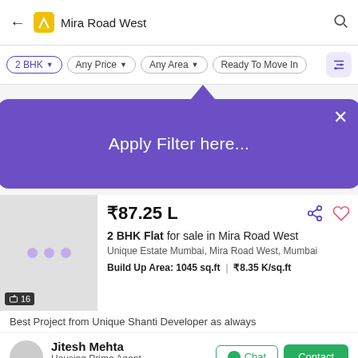Mira Road West
2 BHK | Any Price | Any Area | Ready To Move In
[Figure (screenshot): Apply Filter here... tooltip popup in purple]
₹87.25 L
2 BHK Flat for sale in Mira Road West
Unique Estate Mumbai, Mira Road West, Mumbai
Build Up Area: 1045 sq.ft | ₹8.35 K/sq.ft
Best Project from Unique Shanti Developer as always
Jitesh Mehta
Housing Prime Agent
updated 3 weeks ago